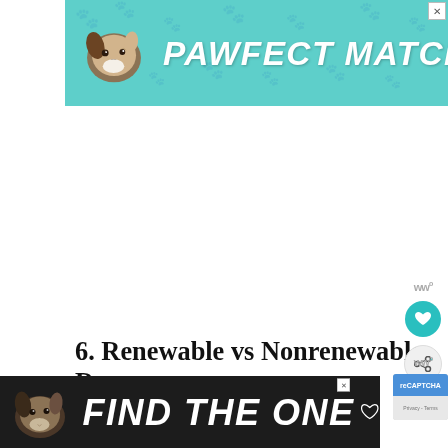[Figure (screenshot): Top advertisement banner with teal/mint background featuring a dog illustration and text 'PAWFECT MATCH' in bold white italic lettering with paw print pattern overlay. Has an X close button in top right corner.]
6. Renewable vs Nonrenewable Resources
We...
[Figure (screenshot): Bottom advertisement banner with dark background featuring a dog illustration and bold white italic text 'FIND THE ONE' with a heart icon. Has an X close button.]